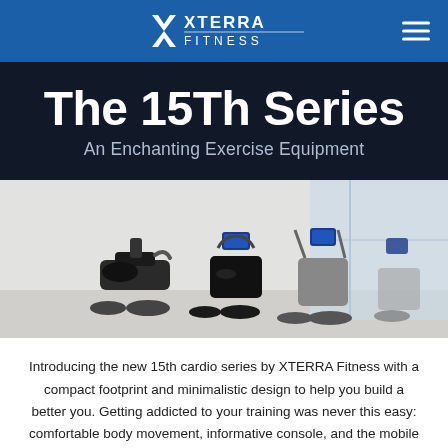XTERRA FITNESS
The 15Th Series
An Enchanting Exercise Equipment
[Figure (photo): Three XTERRA Fitness exercise machines (recumbent bike, upright bike, elliptical trainer) displayed in a modern bright room setting.]
Introducing the new 15th cardio series by XTERRA Fitness with a compact footprint and minimalistic design to help you build a better you. Getting addicted to your training was never this easy: comfortable body movement, informative console, and the mobile device holder help you reach your fitness objectives.